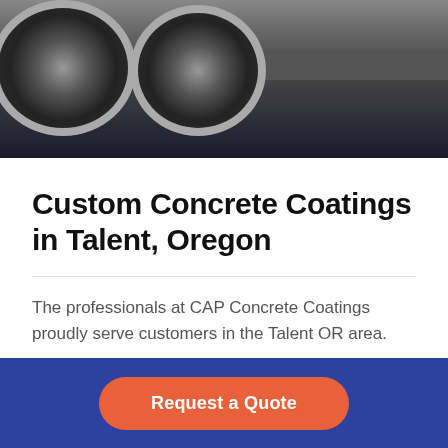[Figure (photo): Dark background photo showing large truck wheels/tires and undercarriage on pavement]
Custom Concrete Coatings in Talent, Oregon
The professionals at CAP Concrete Coatings proudly serve customers in the Talent OR area.
Preserving your flooring is very important for any home or business, and we have created a coating system with
Request a Quote